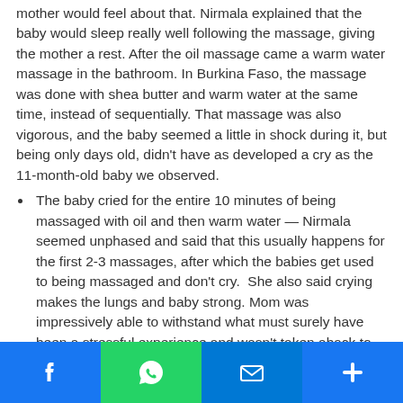mother would feel about that. Nirmala explained that the baby would sleep really well following the massage, giving the mother a rest. After the oil massage came a warm water massage in the bathroom. In Burkina Faso, the massage was done with shea butter and warm water at the same time, instead of sequentially. That massage was also vigorous, and the baby seemed a little in shock during it, but being only days old, didn't have as developed a cry as the 11-month-old baby we observed.
The baby cried for the entire 10 minutes of being massaged with oil and then warm water — Nirmala seemed unphased and said that this usually happens for the first 2-3 massages, after which the babies get used to being massaged and don't cry.  She also said crying makes the lungs and baby strong. Mom was impressively able to withstand what must surely have been a stressful exper... taken aback to say or do m...
[Figure (other): Social media sharing bar with Facebook, WhatsApp, email, and add/share icons overlaid at the bottom of the page]